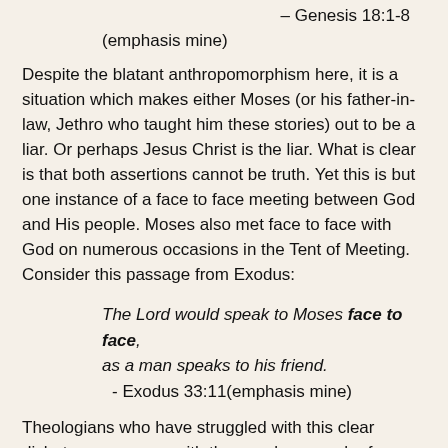– Genesis 18:1-8
(emphasis mine)
Despite the blatant anthropomorphism here, it is a situation which makes either Moses (or his father-in-law, Jethro who taught him these stories) out to be a liar. Or perhaps Jesus Christ is the liar. What is clear is that both assertions cannot be truth. Yet this is but one instance of a face to face meeting between God and His people. Moses also met face to face with God on numerous occasions in the Tent of Meeting. Consider this passage from Exodus:
The Lord would speak to Moses face to face, as a man speaks to his friend.
 - Exodus 33:11(emphasis mine)
Theologians who have struggled with this clear dichotomy came up with the novel approach of a “Pre-incarnate Christ” who is the “God” we see so often throughout the Old Testament. This is more formally, but generically called a